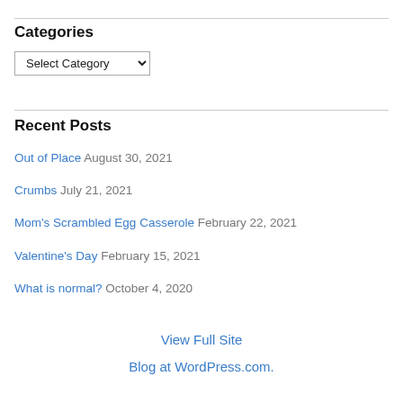Categories
Select Category
Recent Posts
Out of Place August 30, 2021
Crumbs July 21, 2021
Mom's Scrambled Egg Casserole February 22, 2021
Valentine's Day February 15, 2021
What is normal? October 4, 2020
View Full Site
Blog at WordPress.com.